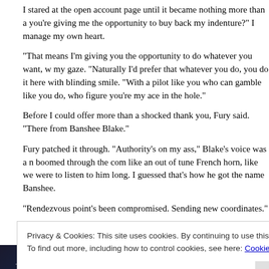I stared at the open account page until it became nothing more than a... you're giving me the opportunity to buy back my indenture?" I manage... my own heart.
“That means I’m giving you the opportunity to do whatever you want, v... my gaze. “Naturally I’d prefer that whatever you do, you do it here with... blinding smile. “With a pilot like you who can gamble like you do, who... figure you’re my ace in the hole.”
Before I could offer more than a shocked thank you, Fury said. “There... from Banshee Blake.”
Fury patched it through. “Authority’s on my ass,” Blake’s voice was a n... boomed through the com like an out of tune French horn, like we were... to listen to him long. I guessed that’s how he got the name Banshee.
“Rendezvous point’s been compromised. Sending new coordinates.”
“Fury send a text only confirmation,” Manning said without switching o... ’blace,” he added studying the coordinates Blake had sent. We both w...
Privacy & Cookies: This site uses cookies. By continuing to use this website, you agree to their use.
To find out more, including how to control cookies, see here: Cookie Policy
Close and accept
[Figure (photo): Dark space/nebula photograph showing stars and cosmic clouds in dark blue, purple and orange tones]
and run if he gets an oppo...